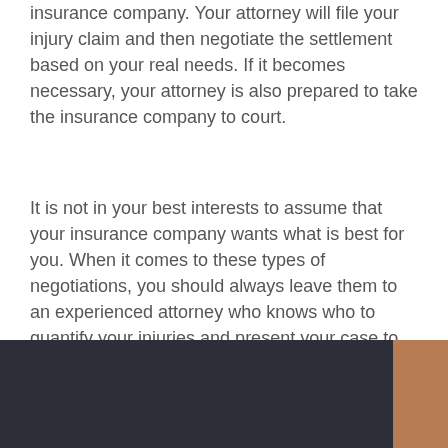insurance company. Your attorney will file your injury claim and then negotiate the settlement based on your real needs. If it becomes necessary, your attorney is also prepared to take the insurance company to court.
It is not in your best interests to assume that your insurance company wants what is best for you. When it comes to these types of negotiations, you should always leave them to an experienced attorney who knows who to quantify your injuries and present your case to the insurance company. If you settle to early on your injury claim, you could wind up regretting it for the rest of your life.